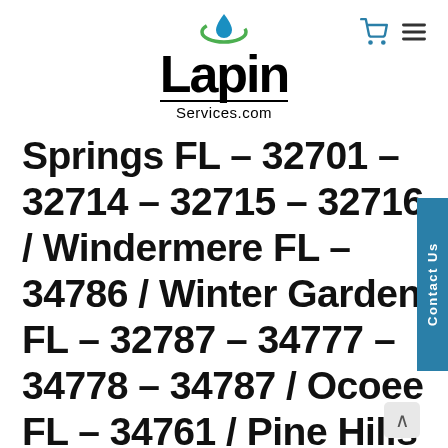[Figure (logo): Lapin Services.com logo with a blue/green water drop icon above the text]
Springs FL – 32701 – 32714 – 32715 – 32716 / Windermere FL – 34786 / Winter Garden FL – 32787 – 34777 – 34778 – 34787 / Ocoee FL – 34761 / Pine Hills FL –